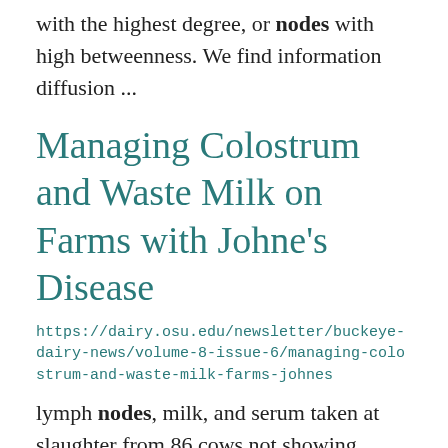with the highest degree, or nodes with high betweenness. We find information diffusion ...
Managing Colostrum and Waste Milk on Farms with Johne's Disease
https://dairy.osu.edu/newsletter/buckeye-dairy-news/volume-8-issue-6/managing-colostrum-and-waste-milk-farms-johnes
lymph nodes, milk, and serum taken at slaughter from 86 cows not showing clinical signs of Johne's ... disease. The samples were tested by culture (feces, lymph nodes, and milk) and complement